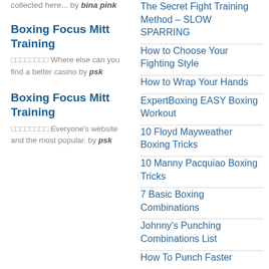collected here... by bina pink
Boxing Focus Mitt Training
□□□□□□□□ Where else can you find a better casino by psk
Boxing Focus Mitt Training
□□□□□□□□ Everyone's website and the most popular. by psk
The Secret Fight Training Method – SLOW SPARRING
How to Choose Your Fighting Style
How to Wrap Your Hands
ExpertBoxing EASY Boxing Workout
10 Floyd Mayweather Boxing Tricks
10 Manny Pacquiao Boxing Tricks
7 Basic Boxing Combinations
Johnny’s Punching Combinations List
How To Punch Faster